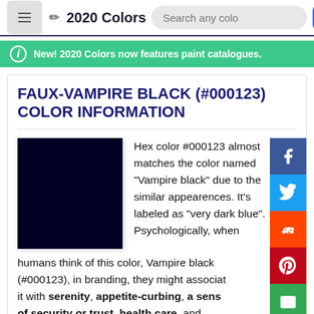2020 Colors
New! 2020 Colors now features paint catalogues.
FAUX-VAMPIRE BLACK (#000123) COLOR INFORMATION
Hex color #000123 almost matches the color named "Vampire black" due to the similar appearences. It's labeled as "very dark blue". Psychologically, when humans think of this color, Vampire black (#000123), in branding, they might associate it with serenity, appetite-curbing, a sense of security or trust, health care, and